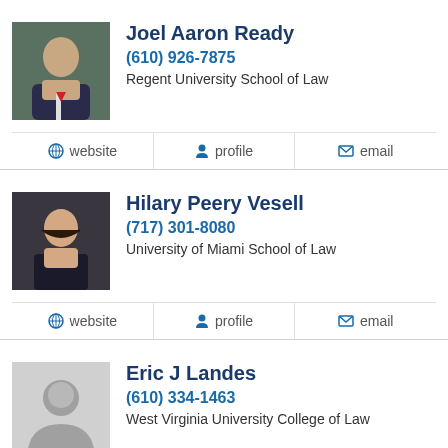Joel Aaron Ready
(610) 926-7875
Regent University School of Law
website | profile | email
Hilary Peery Vesell
(717) 301-8080
University of Miami School of Law
website | profile | email
Eric J Landes
(610) 334-1463
West Virginia University College of Law